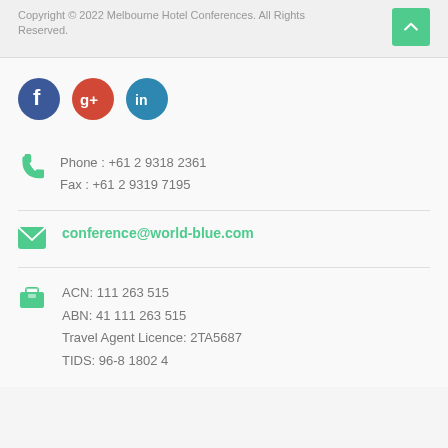Copyright © 2022 Melbourne Hotel Conferences. All Rights Reserved.
[Figure (illustration): Social media icons: Facebook (blue circle), Google+ (red circle), LinkedIn (teal circle)]
Phone : +61 2 9318 2361
Fax : +61 2 9319 7195
conference@world-blue.com
ACN: 111 263 515
ABN: 41 111 263 515
Travel Agent Licence: 2TA5687
TIDS: 96-8 1802 4